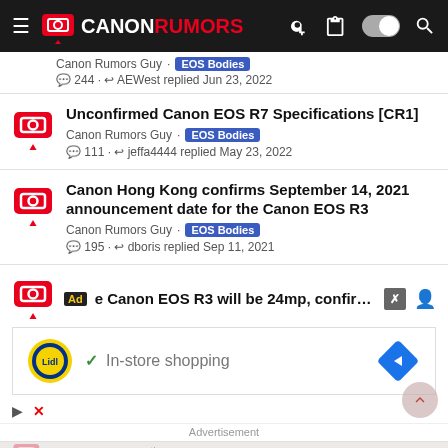Canon Rumors
Canon Rumors Guy · EOS Bodies · 244 · AEWest replied Jun 23, 2022
Unconfirmed Canon EOS R7 Specifications [CR1] · Canon Rumors Guy · EOS Bodies · 111 · jeffa4444 replied May 23, 2022
Canon Hong Kong confirms September 14, 2021 announcement date for the Canon EOS R3 · Canon Rumors Guy · EOS Bodies · 195 · dboris replied Sep 11, 2021
[Figure (screenshot): Advertisement overlay showing: 'Ad e Canon EOS R3 will be 24mp, confirmed' with a Lidl In-store shopping advertisement banner below. Advertisement label at the bottom.]
is September 14 th finally get the official